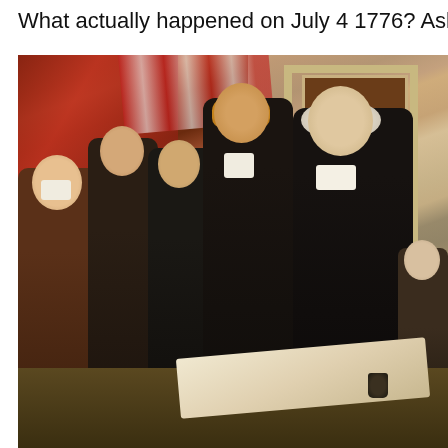What actually happened on July 4 1776? Ask Dave Tay
[Figure (illustration): John Trumbull's painting 'Declaration of Independence' showing the Founding Fathers presenting the Declaration of Independence, with figures including Thomas Jefferson (tall, orange vest) and Benjamin Franklin (white-haired) standing before a table with papers and an inkwell, with a red-draped background and doorway.]